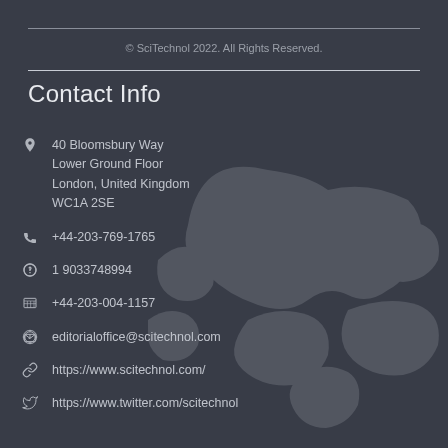© SciTechnol 2022. All Rights Reserved.
Contact Info
40 Bloomsbury Way
Lower Ground Floor
London, United Kingdom
WC1A 2SE
+44-203-769-1765
1 9033748994
+44-203-004-1157
editorialoffice@scitechnol.com
https://www.scitechnol.com/
https://www.twitter.com/scitechnol